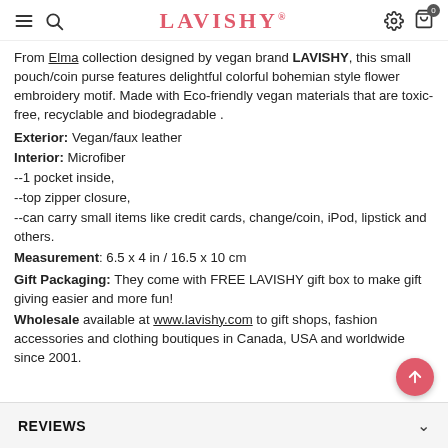LAVISHY®
From Elma collection designed by vegan brand LAVISHY, this small pouch/coin purse features delightful colorful bohemian style flower embroidery motif. Made with Eco-friendly vegan materials that are toxic-free, recyclable and biodegradable .
Exterior: Vegan/faux leather
Interior: Microfiber
--1 pocket inside,
--top zipper closure,
--can carry small items like credit cards, change/coin, iPod, lipstick and others.
Measurement: 6.5 x 4 in / 16.5 x 10 cm
Gift Packaging: They come with FREE LAVISHY gift box to make gift giving easier and more fun!
Wholesale available at www.lavishy.com to gift shops, fashion accessories and clothing boutiques in Canada, USA and worldwide since 2001.
REVIEWS